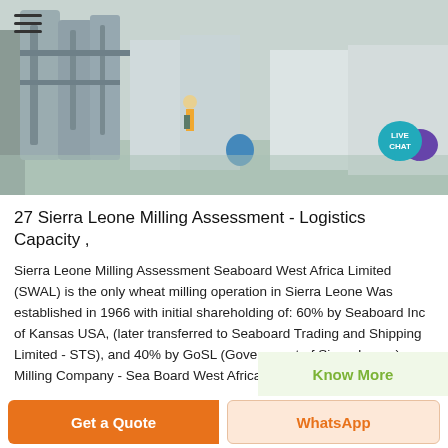[Figure (photo): Industrial milling facility interior showing large machinery, pipes and equipment. A worker in safety gear is visible in the background.]
27 Sierra Leone Milling Assessment - Logistics Capacity ,
Sierra Leone Milling Assessment Seaboard West Africa Limited (SWAL) is the only wheat milling operation in Sierra Leone Was established in 1966 with initial shareholding of: 60% by Seaboard Inc of Kansas USA, (later transferred to Seaboard Trading and Shipping Limited - STS), and 40% by GoSL (Government of Sierra Leone) Milling Company - Sea Board West Africa Limited
Know More